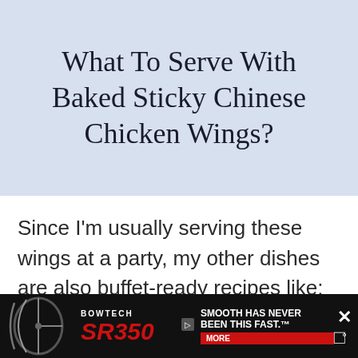What To Serve With Baked Sticky Chinese Chicken Wings?
Since I'm usually serving these wings at a party, my other dishes are also buffet-ready recipes like:
[Figure (other): Like/save widget showing count 2,100 and a heart icon button]
[Figure (other): Bowtech SR350 advertisement banner with black background, red SR350 logo, and 'SMOOTH HAS NEVER BEEN THIS FAST.' tagline with MORE button]